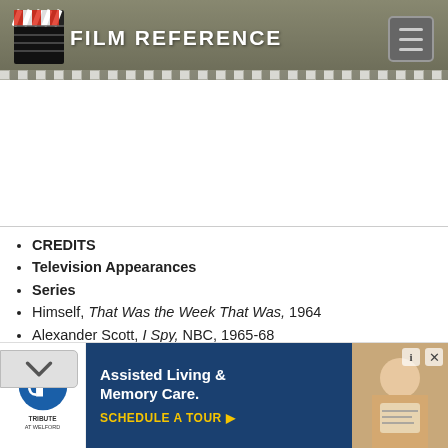FILM REFERENCE
CREDITS
Television Appearances
Series
Himself, That Was the Week That Was, 1964
Alexander Scott, I Spy, NBC, 1965-68
Chet Kincaid, The Bill Cosby Show, NBC, 1969-71
Milkman, Ken Kane, the ice cream man, and Hank, The Electric Company, PBS, 1971-
The New Bill Cosby Show, CBS, 1972-73
Voice of himself, Fat Albert, Bill, Mushmouth, Mudfoot,
[Figure (screenshot): Tribute at Welford advertisement for Assisted Living & Memory Care with Schedule a Tour button]